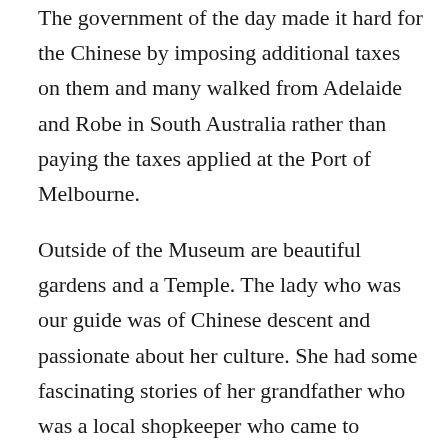The government of the day made it hard for the Chinese by imposing additional taxes on them and many walked from Adelaide and Robe in South Australia rather than paying the taxes applied at the Port of Melbourne.
Outside of the Museum are beautiful gardens and a Temple. The lady who was our guide was of Chinese descent and passionate about her culture. She had some fascinating stories of her grandfather who was a local shopkeeper who came to Bendigo after the Goldrush days. Well worth spending a couple of hours here.
Bendigo is also famous for its Bendigo Pottery and we couldn't not visit the old factory. The attached museum